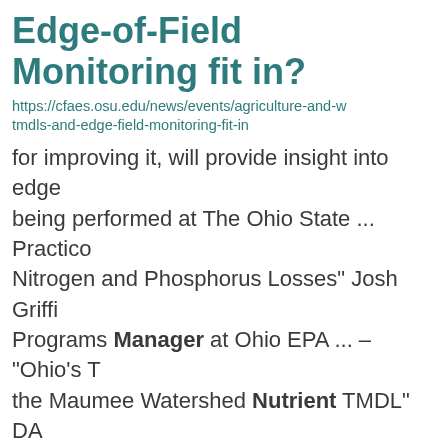Edge-of-Field Monitoring fit in?
https://cfaes.osu.edu/news/events/agriculture-and-w tmdls-and-edge-field-monitoring-fit-in
for improving it, will provide insight into edge being performed at The Ohio State ... Practico Nitrogen and Phosphorus Losses" Josh Griffi Programs Manager at Ohio EPA ... – "Ohio's T the Maumee Watershed Nutrient TMDL"  DA 2022 TIME:  1:00 PM – 3:00 ...
Home
https://pested.osu.edu/home
with pest management issues; ask questions on latest research Be the first to hear ...
URBAN LANDSCAPE PEST MANAGEMENT